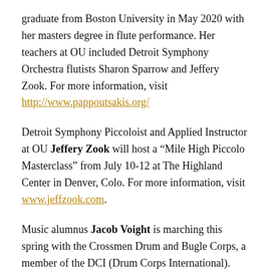graduate from Boston University in May 2020 with her masters degree in flute performance. Her teachers at OU included Detroit Symphony Orchestra flutists Sharon Sparrow and Jeffery Zook. For more information, visit http://www.pappoutsakis.org/
Detroit Symphony Piccoloist and Applied Instructor at OU Jeffery Zook will host a “Mile High Piccolo Masterclass” from July 10-12 at The Highland Center in Denver, Colo. For more information, visit www.jeffzook.com.
Music alumnus Jacob Voight is marching this spring with the Crossmen Drum and Bugle Corps, a member of the DCI (Drum Corps International). Another music alum, Michael Abel, who also marched DCI but as a member of the Phantom Regiment Drum and Bugle Corps, is now